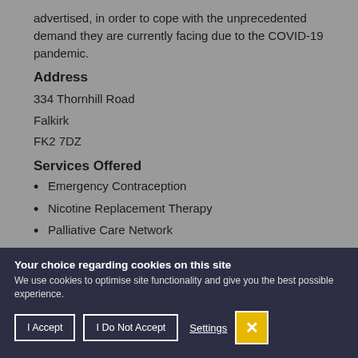advertised, in order to cope with the unprecedented demand they are currently facing due to the COVID-19 pandemic.
Address
334 Thornhill Road
Falkirk
FK2 7DZ
Services Offered
Emergency Contraception
Nicotine Replacement Therapy
Palliative Care Network
Your choice regarding cookies on this site
We use cookies to optimise site functionality and give you the best possible experience.
I Accept | I Do Not Accept | Settings | X